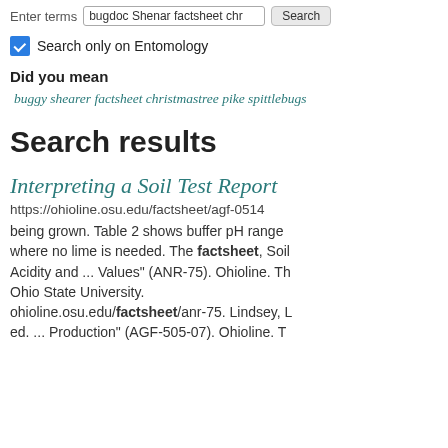Enter terms  bugdoc Shenar factsheet chr  Search
Search only on Entomology
Did you mean
buggy shearer factsheet christmastree pike spittlebugs
Search results
Interpreting a Soil Test Report
https://ohioline.osu.edu/factsheet/agf-0514
being grown. Table 2 shows buffer pH range where no lime is needed. The factsheet, Soil Acidity and ... Values" (ANR-75). Ohioline. The Ohio State University. ohioline.osu.edu/factsheet/anr-75. Lindsey, L ed. ... Production" (AGF-505-07). Ohioline. T